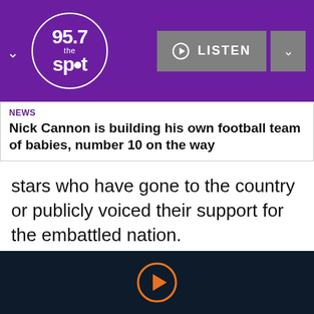[Figure (logo): 95.7 The Spot radio station logo in white circle on purple background with LISTEN button and chevron]
NEWS
Nick Cannon is building his own football team of babies, number 10 on the way
stars who have gone to the country or publicly voiced their support for the embattled nation.
"[Ukriane] is grateful to Hollywood stars who, despite the danger, have visited us," wrote the Minister in the caption. "@SeanPenn, @LievSchreiber, Angelina Jolie, @BenStiller you are
[Figure (illustration): Orange outlined play button circle on dark navy background]